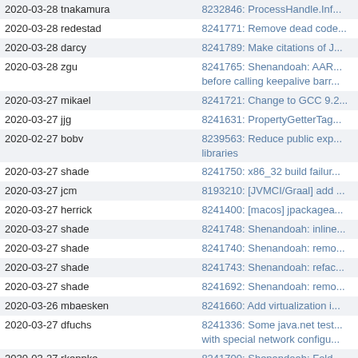| Date / Author | Commit |
| --- | --- |
| 2020-03-28 tnakamura | 8232846: ProcessHandle.Inf... |
| 2020-03-28 redestad | 8241771: Remove dead code... |
| 2020-03-28 darcy | 8241789: Make citations of J... |
| 2020-03-28 zgu | 8241765: Shenandoah: AAR... before calling keepalive barr... |
| 2020-03-27 mikael | 8241721: Change to GCC 9.2... |
| 2020-03-27 jjg | 8241631: PropertyGetterTag... |
| 2020-02-27 bobv | 8239563: Reduce public exp... libraries |
| 2020-03-27 shade | 8241750: x86_32 build failur... |
| 2020-03-27 jcm | 8193210: [JVMCI/Graal] add ... |
| 2020-03-27 herrick | 8241400: [macos] jpackagea... |
| 2020-03-27 shade | 8241748: Shenandoah: inline... |
| 2020-03-27 shade | 8241740: Shenandoah: remo... |
| 2020-03-27 shade | 8241743: Shenandoah: refac... |
| 2020-03-27 shade | 8241692: Shenandoah: remo... |
| 2020-03-26 mbaesken | 8241660: Add virtualization i... |
| 2020-03-27 dfuchs | 8241336: Some java.net test... with special network configu... |
| 2020-03-27 rkennke | 8241700: Shenandoah: Fold ... ShenandoahSATBBarrier |
| 2020-03-27 vlivanov | 8241597: x86: Remove MMX... |
| 2020-03-27 vlivanov | 8241434: x86: Fix Assembler... |
| 2020-03-27 vlivanov | 8241436: C2: Factor out C2-s... |
| 2020-01-22 rkennke | 8227269: Slow class loading... |
| 2020-03-25 mbaesken | 8241586: compiler/cpuflags/... aarch64 |